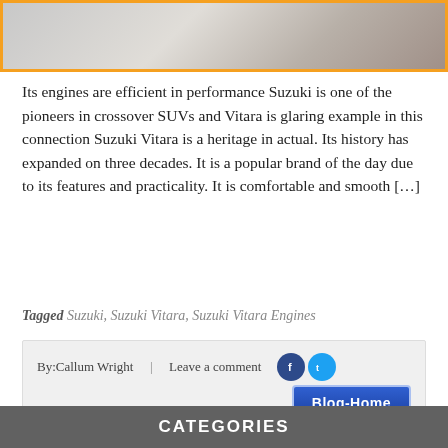[Figure (photo): Top portion of a car image with orange border, partially visible]
Its engines are efficient in performance Suzuki is one of the pioneers in crossover SUVs and Vitara is glaring example in this connection Suzuki Vitara is a heritage in actual. Its history has expanded on three decades. It is a popular brand of the day due to its features and practicality. It is comfortable and smooth [...]
Tagged Suzuki, Suzuki Vitara, Suzuki Vitara Engines
By:Callum Wright  |  Leave a comment
[Figure (screenshot): Blog-Home button, blue rounded rectangle button]
CATEGORIES